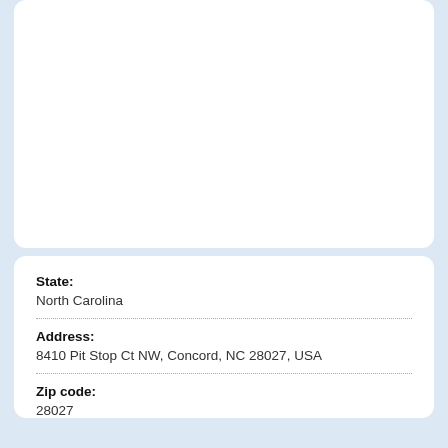State: North Carolina
Address: 8410 Pit Stop Ct NW, Concord, NC 28027, USA
Zip code: 28027